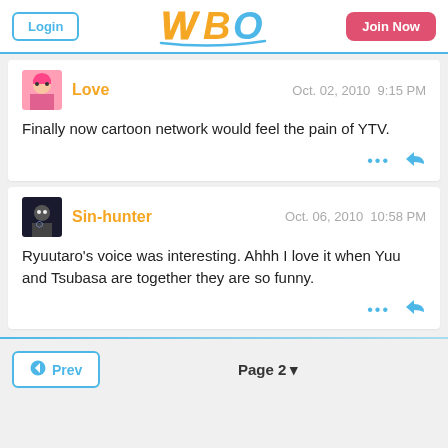WBO site header with Login and Join Now buttons
Love  Oct. 02, 2010  9:15 PM
Finally now cartoon network would feel the pain of YTV.
Sin-hunter  Oct. 06, 2010  10:58 PM
Ryuutaro's voice was interesting. Ahhh I love it when Yuu and Tsubasa are together they are so funny.
Prev  Page 2